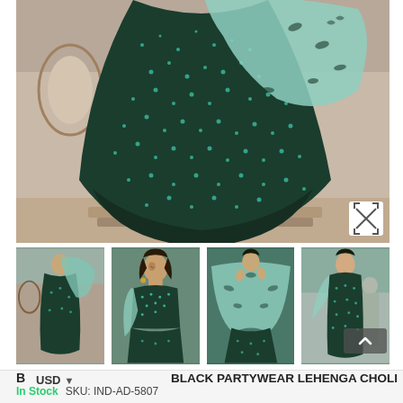[Figure (photo): Main product photo of a dark green embellished lehenga choli with teal sequin and floral embroidery, dupatta draped over the shoulder, photographed outdoors near decorative architecture. A white expand icon appears at bottom right corner of the image.]
[Figure (photo): Thumbnail 1: Full view of model wearing dark green lehenga with light blue dupatta in front of ornate architecture]
[Figure (photo): Thumbnail 2: Close-up of model wearing the dark teal sequin lehenga choli with light blue dupatta, smiling]
[Figure (photo): Thumbnail 3: Model posing with the light blue dupatta spread out, wearing dark green sequin lehenga]
[Figure (photo): Thumbnail 4: Side/back view of model in dark green lehenga with light blue dupatta]
BLACK PARTYWEAR LEHENGA CHOLI
In Stock    SKU: IND-AD-5807